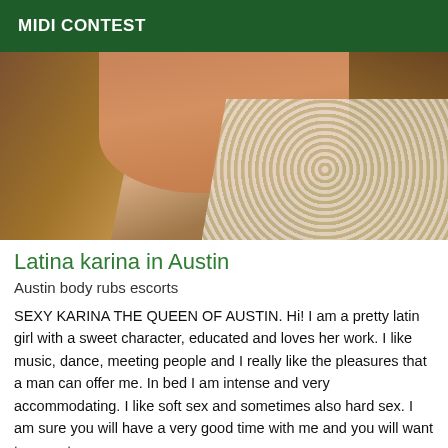MIDI CONTEST
[Figure (photo): Close-up photo of a woman with long brown hair wearing a gold necklace and a white knit/crochet cardigan, taking a selfie]
Latina karina in Austin
Austin body rubs escorts
SEXY KARINA THE QUEEN OF AUSTIN. Hi! I am a pretty latin girl with a sweet character, educated and loves her work. I like music, dance, meeting people and I really like the pleasures that a man can offer me. In bed I am intense and very accommodating. I like soft sex and sometimes also hard sex. I am sure you will have a very good time with me and you will want to repeat.